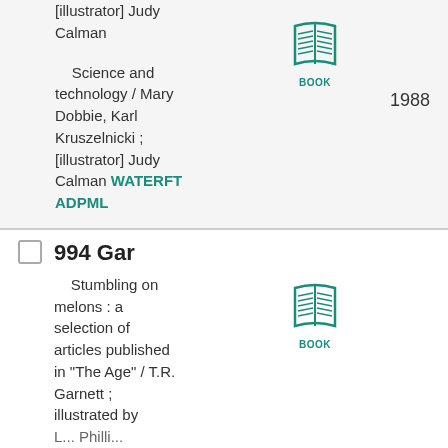[illustrator] Judy Calman  Science and technology / Mary Dobbie, Karl Kruszelnicki ; [illustrator] Judy Calman WATERFT ADPML  1988
[Figure (illustration): Open book icon with lines suggesting pages, teal/green color, labeled BOOK]
994 Gar
Stumbling on melons : a selection of articles published in "The Age" / T.R. Garnett ; illustrated by  1984
[Figure (illustration): Open book icon with lines suggesting pages, teal/green color, labeled BOOK]